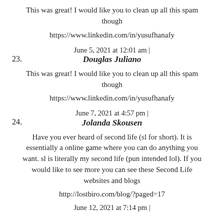This was great! I would like you to clean up all this spam though
https://www.linkedin.com/in/yusufhanafy
23. June 5, 2021 at 12:01 am | Douglas Juliano
This was great! I would like you to clean up all this spam though
https://www.linkedin.com/in/yusufhanafy
24. June 7, 2021 at 4:57 pm | Jolanda Skousen
Have you ever heard of second life (sl for short). It is essentially a online game where you can do anything you want. sl is literally my second life (pun intended lol). If you would like to see more you can see these Second Life websites and blogs
http://lostbiro.com/blog/?paged=17
June 12, 2021 at 7:14 pm |